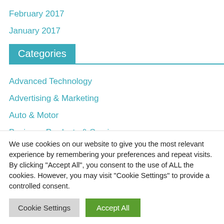February 2017
January 2017
Categories
Advanced Technology
Advertising & Marketing
Auto & Motor
Business Products & Services
We use cookies on our website to give you the most relevant experience by remembering your preferences and repeat visits. By clicking "Accept All", you consent to the use of ALL the cookies. However, you may visit "Cookie Settings" to provide a controlled consent.
Cookie Settings | Accept All